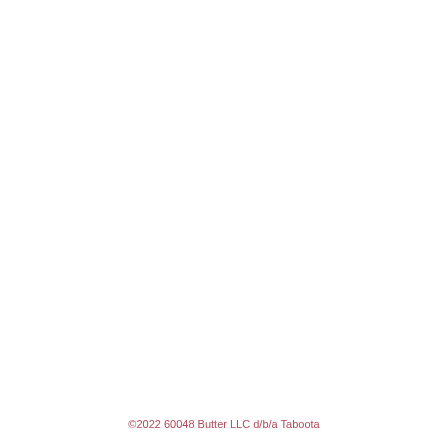©2022 60048 Butter LLC d/b/a Taboota